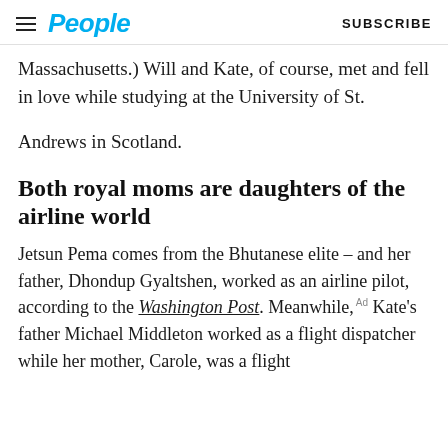People  SUBSCRIBE
Massachusetts.) Will and Kate, of course, met and fell in love while studying at the University of St.
Andrews in Scotland.
Both royal moms are daughters of the airline world
Jetsun Pema comes from the Bhutanese elite – and her father, Dhondup Gyaltshen, worked as an airline pilot, according to the Washington Post. Meanwhile, Kate's father Michael Middleton worked as a flight dispatcher while her mother, Carole, was a flight